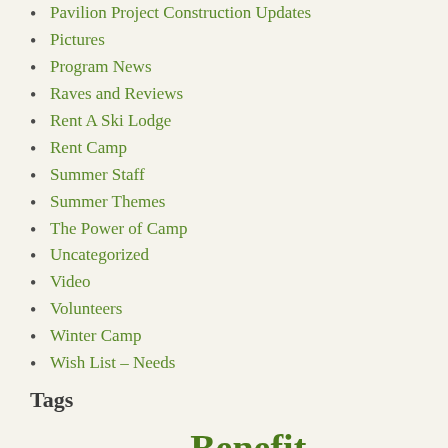Pavilion Project Construction Updates
Pictures
Program News
Raves and Reviews
Rent A Ski Lodge
Rent Camp
Summer Staff
Summer Themes
The Power of Camp
Uncategorized
Video
Volunteers
Winter Camp
Wish List – Needs
Tags
2016 Fall Newsletter Association Benefit Auction beni auction item of the day Board of Directors Cabin & Fire Marshal Camp in a pandemic Capital Campaign Cheeks coupon Covid-19 excited for camp For Campers For Donors For Parents ...